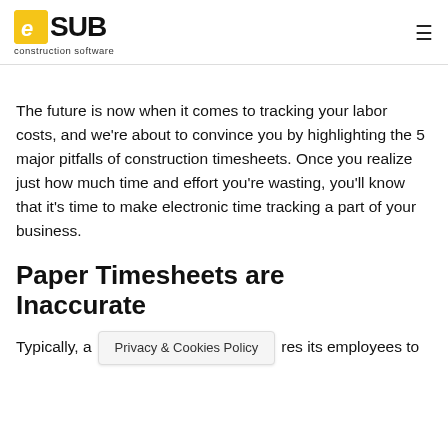eSUB construction software
The future is now when it comes to tracking your labor costs, and we’re about to convince you by highlighting the 5 major pitfalls of construction timesheets. Once you realize just how much time and effort you’re wasting, you’ll know that it’s time to make electronic time tracking a part of your business.
Paper Timesheets are Inaccurate
Typically, a [Privacy & Cookies Policy] res its employees to